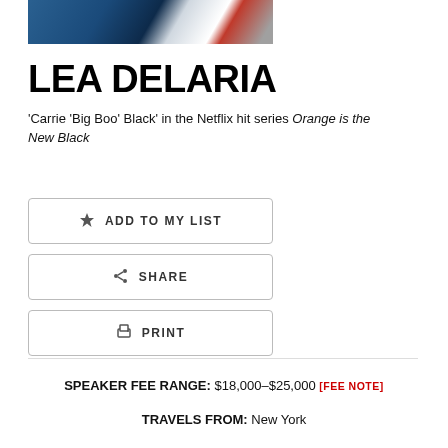[Figure (photo): Partial photo of Lea DeLaria, cropped at top of page showing dark blue and red tones]
LEA DELARIA
'Carrie 'Big Boo' Black' in the Netflix hit series Orange is the New Black
ADD TO MY LIST
SHARE
PRINT
SPEAKER FEE RANGE: $18,000–$25,000 [FEE NOTE]
TRAVELS FROM: New York